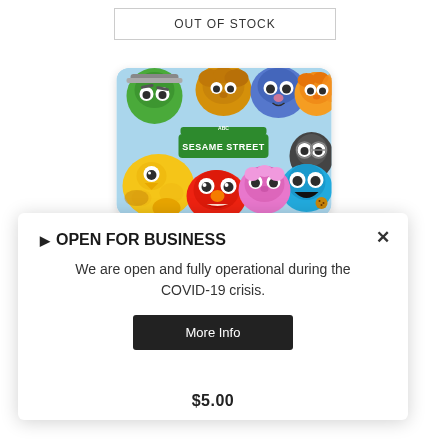OUT OF STOCK
[Figure (illustration): A Sesame Street gift card with colorful cartoon characters including Elmo, Big Bird, Cookie Monster, Grover, Oscar the Grouch, Abby Cadabby, and others on a light blue background with the Sesame Street logo in the center.]
▶ OPEN FOR BUSINESS
We are open and fully operational during the COVID-19 crisis.
More Info
$5.00